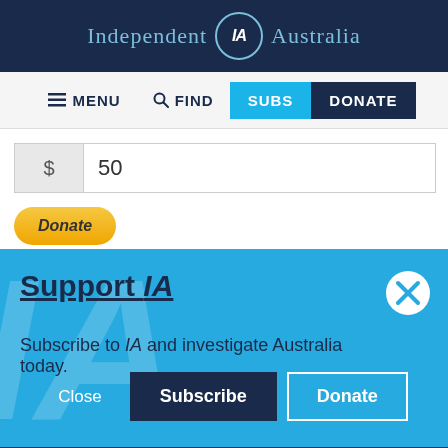Independent IA Australia
MENU  FIND  SUBS  DONATE
$ 50
Donate (PayPal button)
Support IA
Subscribe to IA and investigate Australia today.
Close  Subscribe  Donate
Social icons: Twitter, Facebook, LinkedIn, Flipboard, Link, Plus